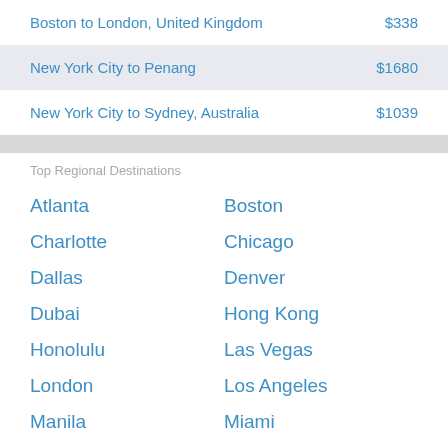| Route | Price |
| --- | --- |
| Boston to London, United Kingdom | $338 |
| New York City to Penang | $1680 |
| New York City to Sydney, Australia | $1039 |
Top Regional Destinations
Atlanta
Boston
Charlotte
Chicago
Dallas
Denver
Dubai
Hong Kong
Honolulu
Las Vegas
London
Los Angeles
Manila
Miami